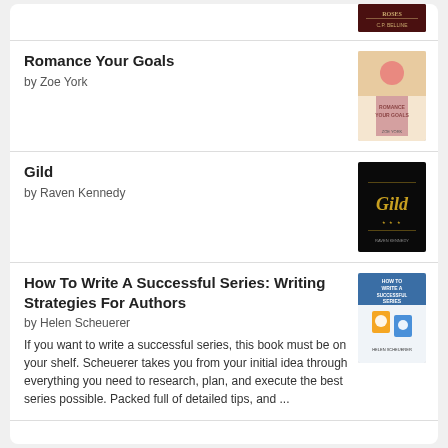[Figure (screenshot): Partial book cover at top (roses themed, dark red)]
Romance Your Goals
by Zoe York
[Figure (illustration): Book cover for Romance Your Goals by Zoe York]
Gild
by Raven Kennedy
[Figure (illustration): Book cover for Gild by Raven Kennedy - dark black cover with golden title]
How To Write A Successful Series: Writing Strategies For Authors
by Helen Scheuerer
[Figure (illustration): Book cover for How To Write A Successful Series by Helen Scheuerer]
If you want to write a successful series, this book must be on your shelf. Scheuerer takes you from your initial idea through everything you need to research, plan, and execute the best series possible. Packed full of detailed tips, and ...
[Figure (logo): Goodreads logo button]